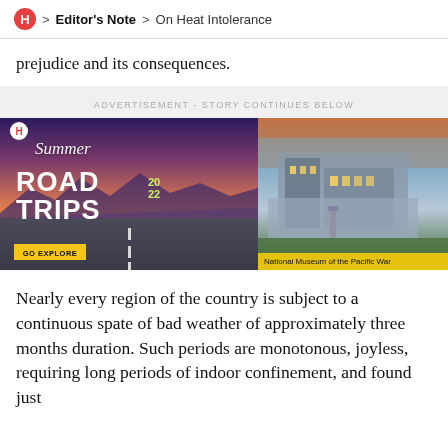H > Editor's Note > On Heat Intolerance
prejudice and its consequences.
ADVERTISEMENT - STORY CONTINUES BELOW
[Figure (illustration): Advertisement banner for Summer Road Trips 2022 featuring a sunset highway on the left and the National Museum of the Pacific War building on the right, with a 'GO EXPLORE' button and yellow caption bar.]
Nearly every region of the country is subject to a continuous spate of bad weather of approximately three months duration. Such periods are monotonous, joyless, requiring long periods of indoor confinement, and found just